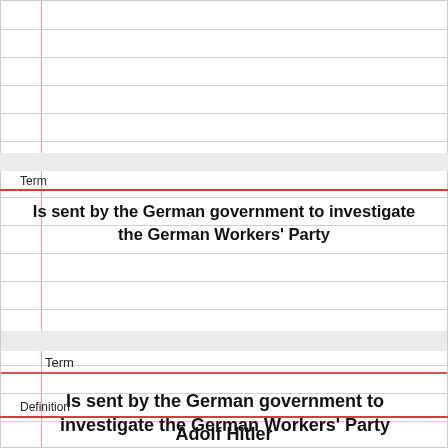Term
Is sent by the German government to investigate the German Workers' Party
Definition
Adolf Hitler